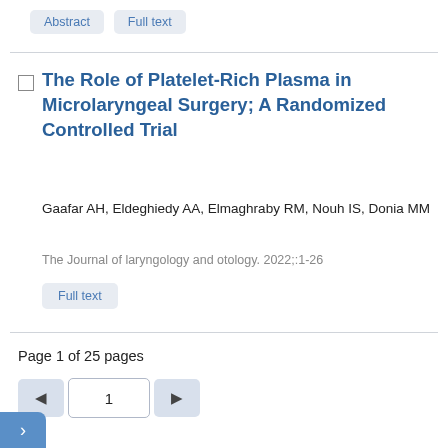Abstract  Full text
The Role of Platelet-Rich Plasma in Microlaryngeal Surgery; A Randomized Controlled Trial
Gaafar AH, Eldeghiedy AA, Elmaghraby RM, Nouh IS, Donia MM
The Journal of laryngology and otology. 2022;:1-26
Full text
Page 1 of 25 pages